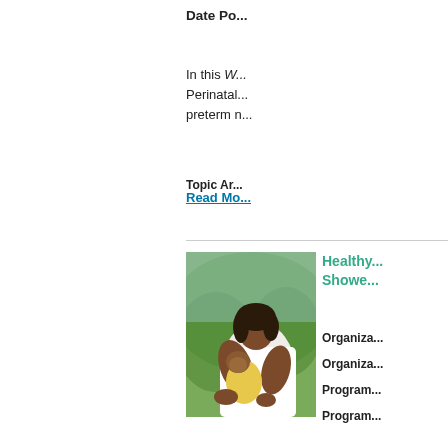Date Po...
In this W... Perinatal... preterm n...
Read Mo...
Healthy... Showe...
Organiza...
Organiza...
Program...
Program...
Topic Ar...
Date Pos...
In this sto...
[Figure (photo): Woman in white shirt holding a baby in yellow outfit outdoors]